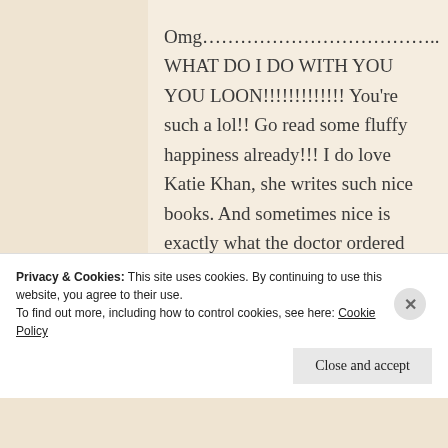Omg……………………………….. WHAT DO I DO WITH YOU YOU LOON!!!!!!!!!!!!! You're such a lol!! Go read some fluffy happiness already!!! I do love Katie Khan, she writes such nice books. And sometimes nice is exactly what the doctor ordered <3333333333
★ Like
Privacy & Cookies: This site uses cookies. By continuing to use this website, you agree to their use. To find out more, including how to control cookies, see here: Cookie Policy
Close and accept